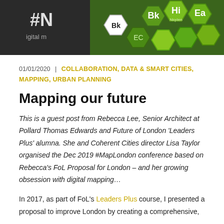[Figure (photo): Banner image showing hexagonal shapes with letters/symbols on dark and green backgrounds, resembling a periodic table or digital map theme. Text elements visible: #N, Bk, Hi, Ea and other hex tiles.]
01/01/2020 | COLLABORATION, DATA & SMART CITIES, MAPPING, URBAN PLANNING
Mapping our future
This is a guest post from Rebecca Lee, Senior Architect at Pollard Thomas Edwards and Future of London 'Leaders Plus' alumna. She and Coherent Cities director Lisa Taylor organised the Dec 2019 #MapLondon conference based on Rebecca's FoL Proposal for London – and her growing obsession with digital mapping…
In 2017, as part of FoL's Leaders Plus course, I presented a proposal to improve London by creating a comprehensive,